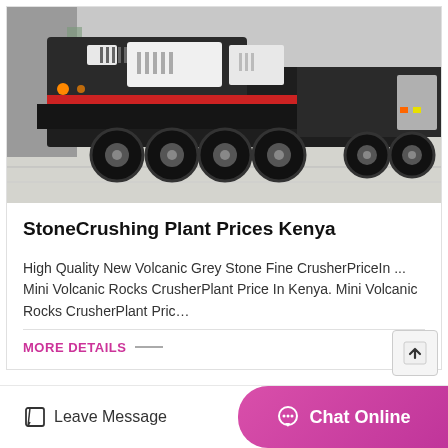[Figure (photo): Mobile stone crushing plant on a flatbed trailer with large wheels, black body with red stripe, photographed in an industrial yard]
StoneCrushing Plant Prices Kenya
High Quality New Volcanic Grey Stone Fine CrusherPriceIn ... Mini Volcanic Rocks CrusherPlant Price In Kenya. Mini Volcanic Rocks CrusherPlant Pric…
MORE DETAILS
Leave Message
Chat Online